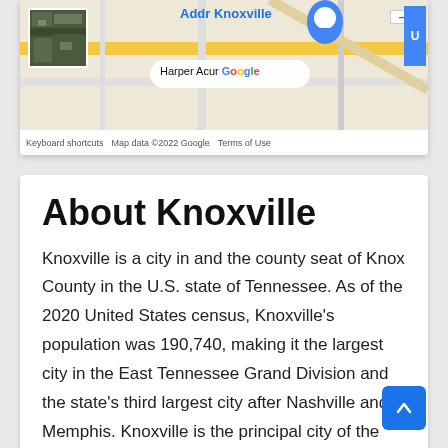[Figure (screenshot): Google Maps screenshot showing Knoxville area with satellite thumbnail, map labels including 'Addr Knoxville', 'Harper Acur', Google logo, and map footer with 'Keyboard shortcuts', 'Map data ©2022 Google', 'Terms of Use']
About Knoxville
Knoxville is a city in and the county seat of Knox County in the U.S. state of Tennessee. As of the 2020 United States census, Knoxville's population was 190,740, making it the largest city in the East Tennessee Grand Division and the state's third largest city after Nashville and Memphis. Knoxville is the principal city of the Knoxville Metropolitan Statistical Area, which had an estimated population of 869,046 in 2019.First settled in 1786, Knoxville was the first capitol of Tennessee. The city struggled